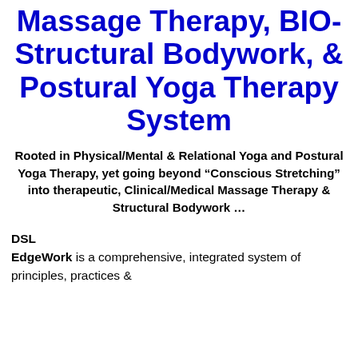Massage Therapy, BIO-Structural Bodywork, & Postural Yoga Therapy System
Rooted in Physical/Mental & Relational Yoga and Postural Yoga Therapy, yet going beyond “Conscious Stretching” into therapeutic, Clinical/Medical Massage Therapy & Structural Bodywork …
DSL EdgeWork is a comprehensive, integrated system of principles, practices &